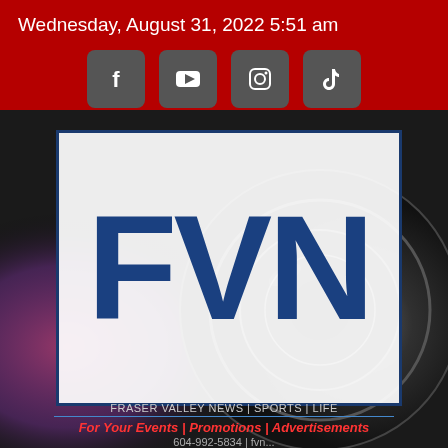Wednesday, August 31, 2022 5:51 am
[Figure (logo): Social media icons row: Facebook, YouTube, Instagram, TikTok buttons on grey rounded square backgrounds]
[Figure (logo): FVN logo — large bold blue letters F V N on white background with blue border, over a camera/photography background image. Below: FRASER VALLEY NEWS | SPORTS | LIFE, For Your Events | Promotions | Advertisements, 604-992-5834 | fvn...]
FRASER VALLEY NEWS | SPORTS | LIFE
For Your Events | Promotions | Advertisements
604-992-5834 | fvn...